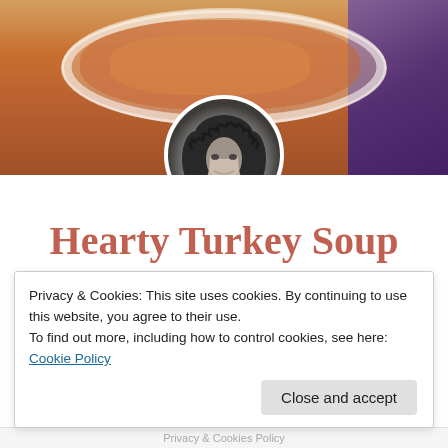[Figure (photo): Food photo of hearty turkey soup in a white bowl, with colorful patterned fabric in background, and a circular black-and-white author portrait overlaid at center bottom of image]
Hearty Turkey Soup
January 19, 2018
Jeanie and Lulu's Kitchen
Privacy & Cookies: This site uses cookies. By continuing to use this website, you agree to their use.
To find out more, including how to control cookies, see here: Cookie Policy
Close and accept